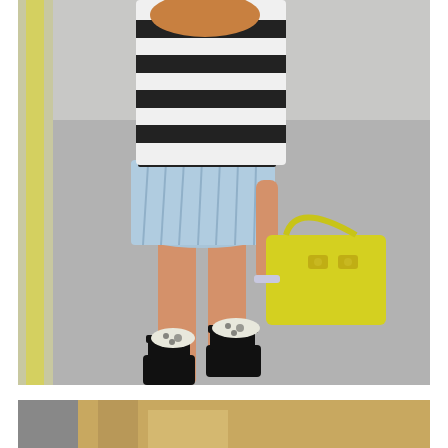[Figure (photo): Fashion photo of a woman walking on a train platform sidewalk. She wears a black and white horizontal striped top, a light blue pleated mini skirt, black platform heeled sandals with animal print toe strap, and carries a bright yellow structured handbag with gold hardware. The background shows a concrete platform with a yellow tactile strip on the left side.]
[Figure (photo): Partial bottom photo showing the lower portion of another fashion image, cropped. Brown/tan tones visible.]